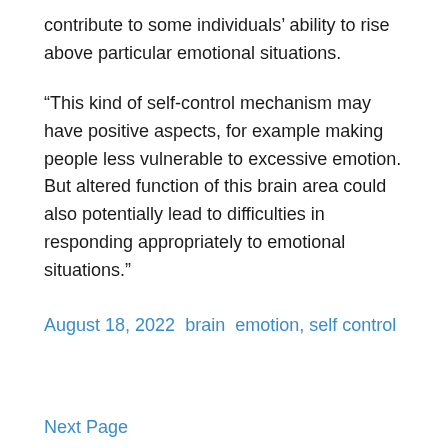contribute to some individuals’ ability to rise above particular emotional situations.
“This kind of self-control mechanism may have positive aspects, for example making people less vulnerable to excessive emotion. But altered function of this brain area could also potentially lead to difficulties in responding appropriately to emotional situations.”
August 18, 2022  brain  emotion,  self control
Next Page